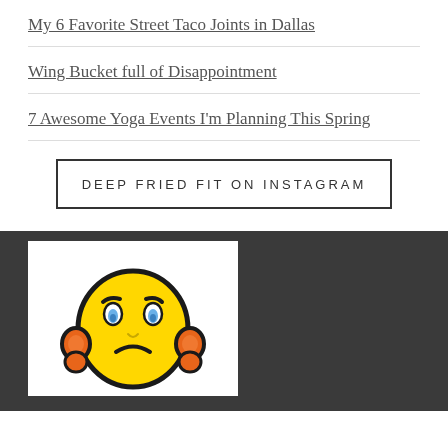My 6 Favorite Street Taco Joints in Dallas
Wing Bucket full of Disappointment
7 Awesome Yoga Events I'm Planning This Spring
DEEP FRIED FIT ON INSTAGRAM
[Figure (illustration): Yellow worried/stressed smiley face emoji with furrowed brows, blue teary eyes, frowning mouth, and orange hands on cheeks, on white background]